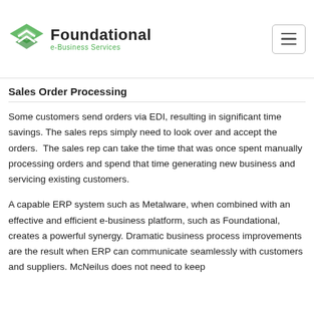Foundational e-Business Services
the material has been received to the warehouse. Both ... error are virtually elim...
Sales Order Processing
Some customers send orders via EDI, resulting in significant time savings. The sales reps simply need to look over and accept the orders. The sales rep can take the time that was once spent manually processing orders and spend that time generating new business and servicing existing customers.
A capable ERP system such as Metalware, when combined with an effective and efficient e-business platform, such as Foundational, creates a powerful synergy. Dramatic business process improvements are the result when ERP can communicate seamlessly with customers and suppliers. McNeilus does not need to keep